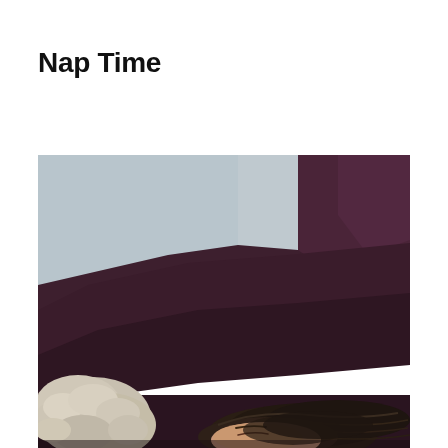Nap Time
[Figure (photo): A person sleeping on a dark purple/plum pillow, with their dark hair visible and eyes closed. A fluffy grey/cream textured blanket or stuffed animal is visible on the left side. The background is a muted blue-grey wall.]